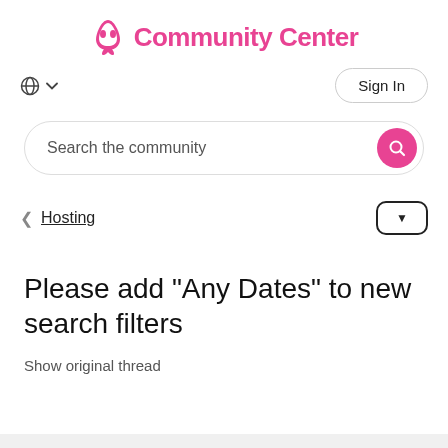Community Center
Sign In
Search the community
Hosting
Please add "Any Dates" to new search filters
Show original thread